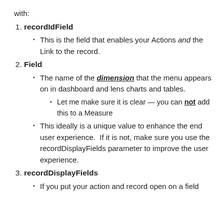with:
recordIdField
This is the field that enables your Actions and the Link to the record.
Field
The name of the dimension that the menu appears on in dashboard and lens charts and tables.
Let me make sure it is clear — you can not add this to a Measure
This ideally is a unique value to enhance the end user experience.  If it is not, make sure you use the recordDisplayFields parameter to improve the user experience.
recordDisplayFields
If you put your action and record open on a field